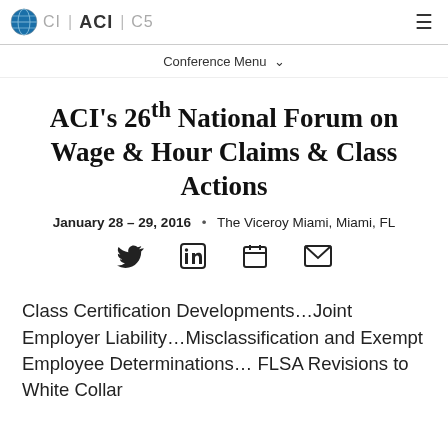CI | ACI | C5
Conference Menu
ACI's 26th National Forum on Wage & Hour Claims & Class Actions
January 28 – 29, 2016  •  The Viceroy Miami, Miami, FL
[Figure (infographic): Social sharing icons: Twitter bird, LinkedIn square, calendar, envelope/email]
Class Certification Developments…Joint Employer Liability…Misclassification and Exempt Employee Determinations… FLSA Revisions to White Collar